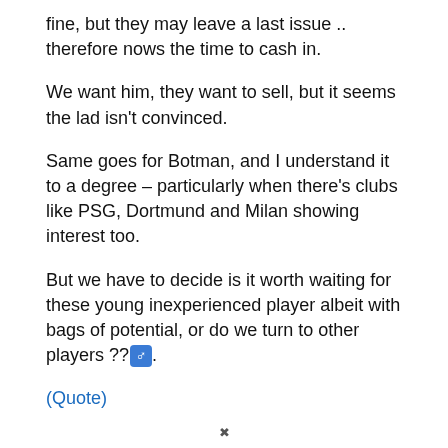fine, but they may leave a last issue .. therefore nows the time to cash in.
We want him, they want to sell, but it seems the lad isn't convinced.
Same goes for Botman, and I understand it to a degree – particularly when there's clubs like PSG, Dortmund and Milan showing interest too.
But we have to decide is it worth waiting for these young inexperienced player albeit with bags of potential, or do we turn to other players ??♂️.
(Quote)